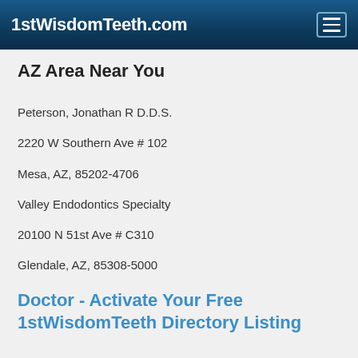1stWisdomTeeth.com
AZ Area Near You
Peterson, Jonathan R D.D.S.
2220 W Southern Ave # 102
Mesa, AZ, 85202-4706
Valley Endodontics Specialty
20100 N 51st Ave # C310
Glendale, AZ, 85308-5000
Doctor - Activate Your Free 1stWisdomTeeth Directory Listing
Johnson, Randall J D.D.S.
7600 E Camelback Rd # 4
Scottsdale, AZ, 85251-2106
Van Der Werf Endodontics
1630 S Stapley Dr # 208
Mesa, AZ, 85204-6659